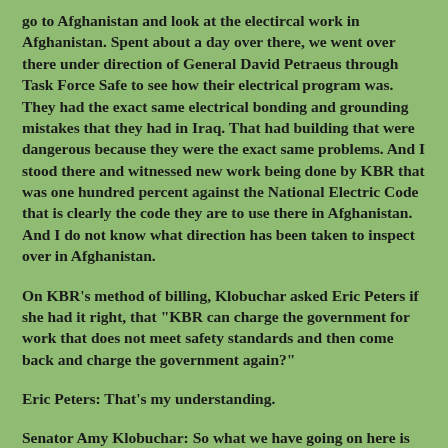go to Afghanistan and look at the electircal work in Afghanistan. Spent about a day over there, we went over there under direction of General David Petraeus through Task Force Safe to see how their electrical program was. They had the exact same electrical bonding and grounding mistakes that they had in Iraq. That had building that were dangerous because they were the exact same problems. And I stood there and witnessed new work being done by KBR that was one hundred percent against the National Electric Code that is clearly the code they are to use there in Afghanistan. And I do not know what direction has been taken to inspect over in Afghanistan.
On KBR's method of billing, Klobuchar asked Eric Peters if she had it right, that "KBR can charge the government for work that does not meet safety standards and then come back and charge the government again?"
Eric Peters: That's my understanding.
Senator Amy Klobuchar: So what we have going on here is they can charge for the work that didn't meet the standards